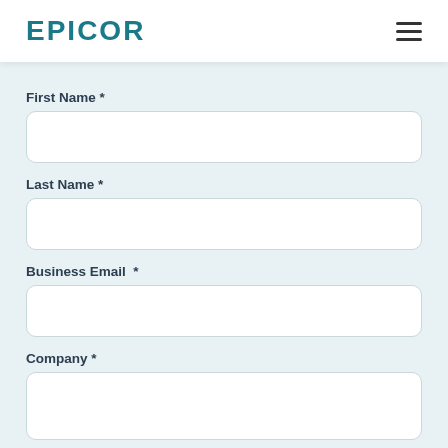EPICOR
First Name *
Last Name *
Business Email *
Company *